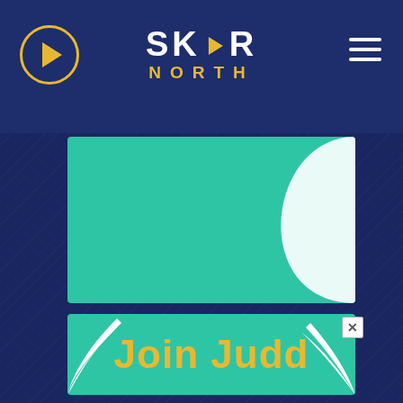[Figure (logo): SKOR NORTH logo with play button circle on left and hamburger menu on right on dark navy header bar]
[Figure (illustration): Teal colored upper banner with white curved swoosh design]
[Figure (illustration): Teal colored lower banner with text 'Join Judd' in yellow bold font with white swoosh decorations and X close button]
Terms of Use   Privacy Policy   DMCA Notice   FCC Applications   EEOC   Public File   Careers   Contest Rules   Hubbard Interactive   Contact Us